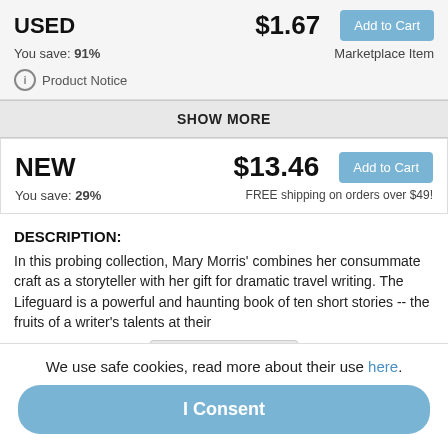USED   $1.67   Add to Cart
You save: 91%   Marketplace Item
Product Notice
SHOW MORE
NEW   $13.46   Add to Cart
You save: 29%   FREE shipping on orders over $49!
DESCRIPTION:
In this probing collection, Mary Morris' combines her consummate craft as a storyteller with her gift for dramatic travel writing. The Lifeguard is a powerful and haunting book of ten short stories -- the fruits of a writer's talents at their
Expand description
Product Notice
We use safe cookies, read more about their use here.
I Consent